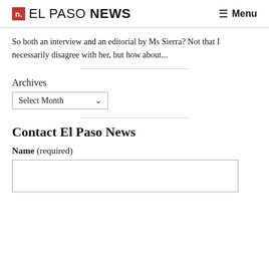n. EL PASO NEWS  ☰ Menu
So both an interview and an editorial by Ms Sierra? Not that I necessarily disagree with her, but how about...
Archives
Select Month
Contact El Paso News
Name (required)